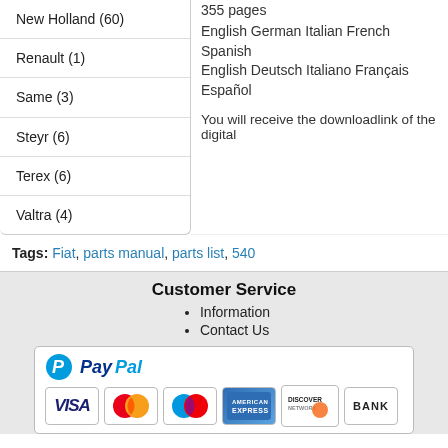New Holland (60)
Renault (1)
Same (3)
Steyr (6)
Terex (6)
Valtra (4)
355 pages
English German Italian French Spanish
English Deutsch Italiano Français Español
You will receive the downloadlink of the digital
Tags: Fiat, parts manual, parts list, 540
Customer Service
Information
Contact Us
[Figure (logo): PayPal payment logo with accepted card icons: VISA, MasterCard, Maestro, American Express, Discover, BANK]